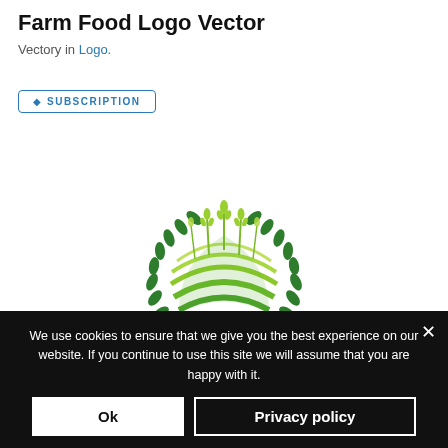Farm Food Logo Vector
Vectory in Logo.
SUBSCRIPTION
[Figure (logo): Agriculture farm food logo with green wheat stalks and laurel wreath surrounding curved farm field rows, with AGRICULTURE text below in bold green]
We use cookies to ensure that we give you the best experience on our website. If you continue to use this site we will assume that you are happy with it.
Ok
Privacy policy